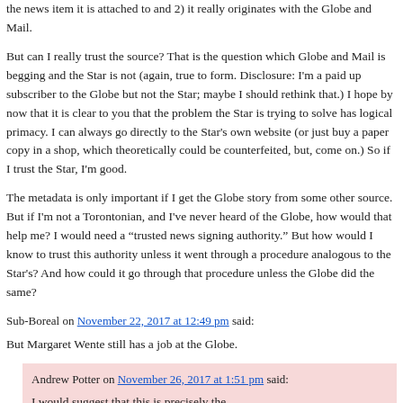the news item it is attached to and 2) it really originates with the Globe and Mail.
But can I really trust the source? That is the question which Globe and Mail is begging and the Star is not (again, true to form. Disclosure: I'm a paid up subscriber to the Globe but not the Star; maybe I should rethink that.) I hope by now that it is clear to you that the problem the Star is trying to solve has logical primacy. I can always go directly to the Star's own website (or just buy a paper copy in a shop, which theoretically could be counterfeited, but, come on.) So if I trust the Star, I'm good.
The metadata is only important if I get the Globe story from some other source. But if I'm not a Torontonian, and I've never heard of the Globe, how would that help me? I would need a “trusted news signing authority.” But how would I know to trust this authority unless it went through a procedure analogous to the Star's? And how could it go through that procedure unless the Globe did the same?
Sub-Boreal on November 22, 2017 at 12:49 pm said:
But Margaret Wente still has a job at the Globe.
Andrew Potter on November 26, 2017 at 1:51 pm said:
I would suggest that this is precisely the